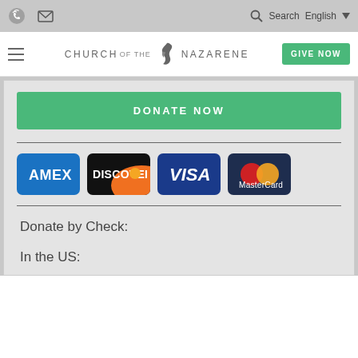Church of the Nazarene — Search English navigation bar
[Figure (screenshot): Church of the Nazarene website header with logo, hamburger menu, and GIVE NOW button]
DONATE NOW
[Figure (illustration): Four payment card logos: AMEX, Discover, Visa, MasterCard]
Donate by Check:
In the US: